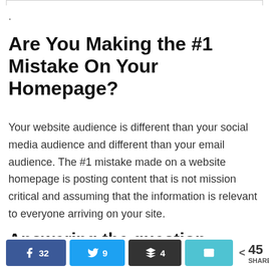.
Are You Making the #1 Mistake On Your Homepage?
Your website audience is different than your social media audience and different than your email audience. The #1 mistake made on a website homepage is posting content that is not mission critical and assuming that the information is relevant to everyone arriving on your site.
Answering the question “What should
32 Facebook  9 Twitter  4 Buffer  Email  < 45 SHARES